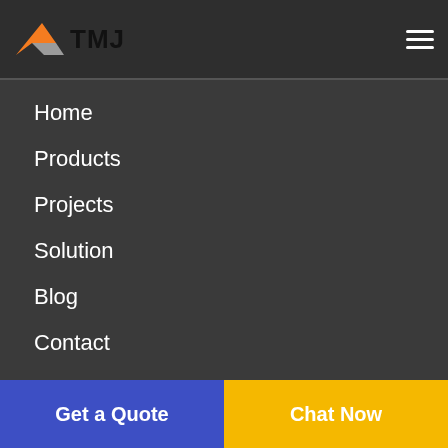TMJ
Home
Products
Projects
Solution
Blog
Contact
Recent News
[Figure (photo): Partial view of a news image strip at the bottom of the content area]
Get a Quote
Chat Now